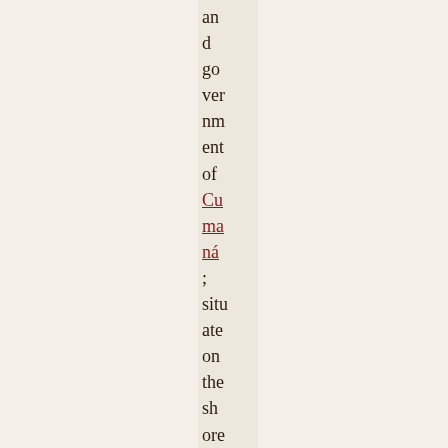and government of Cumaná; situate on the shore of a riv